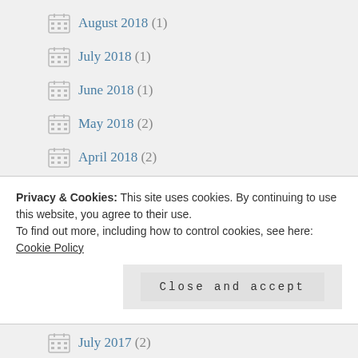August 2018 (1)
July 2018 (1)
June 2018 (1)
May 2018 (2)
April 2018 (2)
March 2018 (1)
February 2018 (1)
January 2018 (1)
December 2017 (2)
Privacy & Cookies: This site uses cookies. By continuing to use this website, you agree to their use.
To find out more, including how to control cookies, see here: Cookie Policy
July 2017 (2)